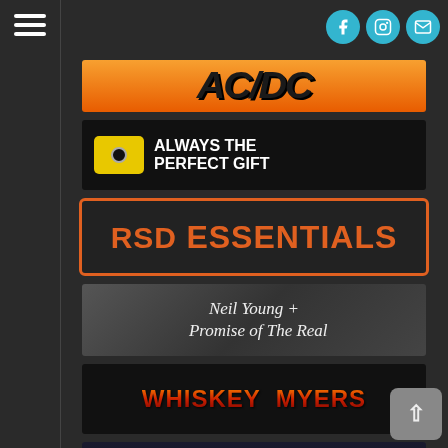[Figure (screenshot): Hamburger menu icon (three horizontal white lines) on dark sidebar]
[Figure (screenshot): Three circular social media icons (Facebook, Instagram, Email) in teal/blue at top right]
[Figure (logo): AC/DC logo banner on orange gradient background]
[Figure (illustration): Gift card banner: yellow gift card icon with text ALWAYS THE PERFECT GIFT on black background]
[Figure (logo): RSD ESSENTIALS logo banner with orange text on dark background with orange border]
[Figure (logo): Neil Young + Promise of The Real banner in italic handwritten-style text on dark grey background]
[Figure (logo): WHISKEY MYERS logo banner with orange-to-dark-red gradient text on black background]
[Figure (logo): ERIC CHURCH logo banner with light grey ERIC and cyan CHURCH text on dark blue-black background]